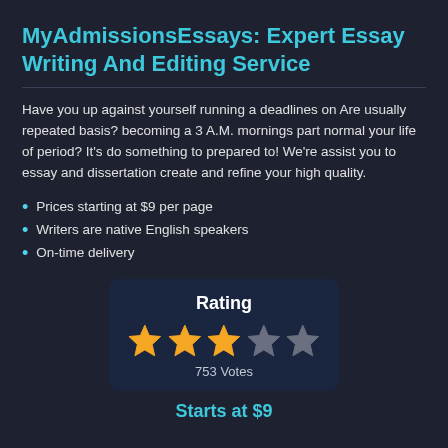MyAdmissionsEssays: Expert Essay Writing And Editing Service
Have you up against yourself running a deadlines on Are usually repeated basis? becoming a 3 A.M. mornings part normal your life of period? It's do something to prepared to! We're assist you to essay and dissertation create and refine your high quality.
Prices starting at $9 per page
Writers are native English speakers
On-time delivery
[Figure (infographic): Rating box with 3 filled stars and 2 empty stars, showing 753 Votes]
Starts at $9